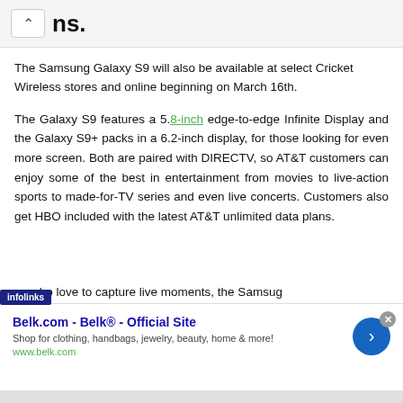ns.
The Samsung Galaxy S9 will also be available at select Cricket Wireless stores and online beginning on March 16th.
The Galaxy S9 features a 5.8-inch edge-to-edge Infinite Display and the Galaxy S9+ packs in a 6.2-inch display, for those looking for even more screen. Both are paired with DIRECTV, so AT&T customers can enjoy some of the best in entertainment from movies to live-action sports to made-for-TV series and even live concerts. Customers also get HBO included with the latest AT&T unlimited data plans.
se who love to capture live moments, the Samsung
[Figure (screenshot): infolinks advertisement banner for Belk.com - Belk Official Site, with blue arrow navigation button and close button]